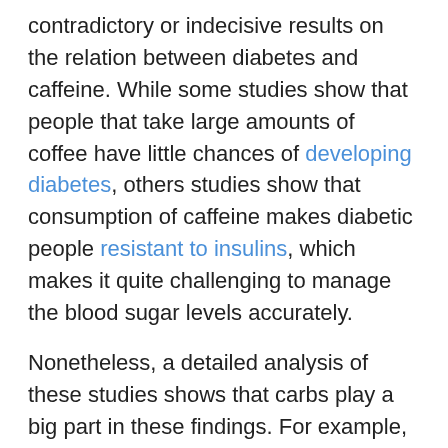contradictory or indecisive results on the relation between diabetes and caffeine. While some studies show that people that take large amounts of coffee have little chances of developing diabetes, others studies show that consumption of caffeine makes diabetic people resistant to insulins, which makes it quite challenging to manage the blood sugar levels accurately.
Nonetheless, a detailed analysis of these studies shows that carbs play a big part in these findings. For example, taking a low-carb diet could help in lowering the adverse effects that come with caffeine while conserving its positive impact on the blood sugar levels.
Tea and Sweeteners
Yes, it is advisable to avoid consuming overly sweet teas.